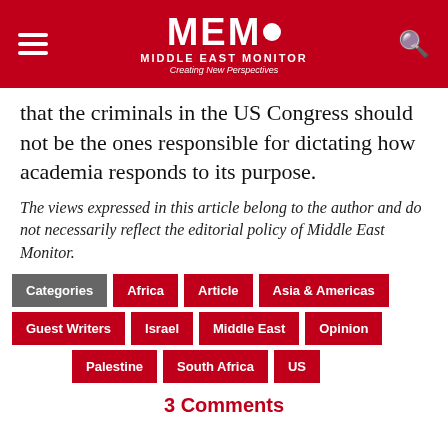MEMO MIDDLE EAST MONITOR — Creating New Perspectives
that the criminals in the US Congress should not be the ones responsible for dictating how academia responds to its purpose.
The views expressed in this article belong to the author and do not necessarily reflect the editorial policy of Middle East Monitor.
Categories | Africa | Article | Asia & Americas | Guest Writers | Israel | Middle East | Opinion | Palestine | South Africa | US
3 Comments